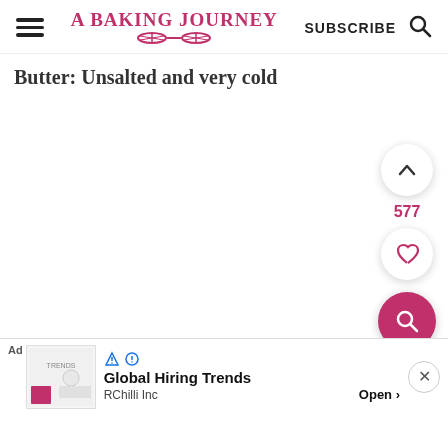A BAKING JOURNEY | SUBSCRIBE
Butter: Unsalted and very cold
[Figure (other): Floating action buttons: up arrow, 577 count, heart icon, and pink search icon]
Cheddar Cheese, finely grated
[Figure (other): Advertisement banner: Global Hiring Trends by RChilli Inc with Open button]